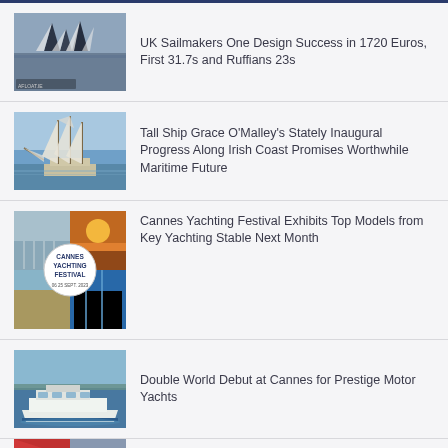UK Sailmakers One Design Success in 1720 Euros, First 31.7s and Ruffians 23s
Tall Ship Grace O'Malley's Stately Inaugural Progress Along Irish Coast Promises Worthwhile Maritime Future
Cannes Yachting Festival Exhibits Top Models from Key Yachting Stable Next Month
Double World Debut at Cannes for Prestige Motor Yachts
Irish Half Tonners Head for Classic Cup at Cowes